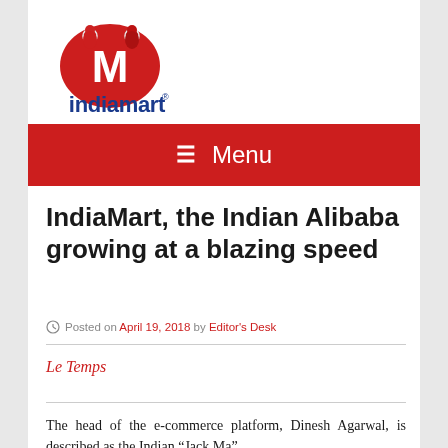[Figure (logo): IndiaMart logo: red oval with white M letter and two person icons on top, with 'indiamart' text in blue below]
≡ Menu
IndiaMart, the Indian Alibaba growing at a blazing speed
Posted on April 19, 2018 by Editor's Desk
Le Temps
The head of the e-commerce platform, Dinesh Agarwal, is described as the Indian "Jack Ma"